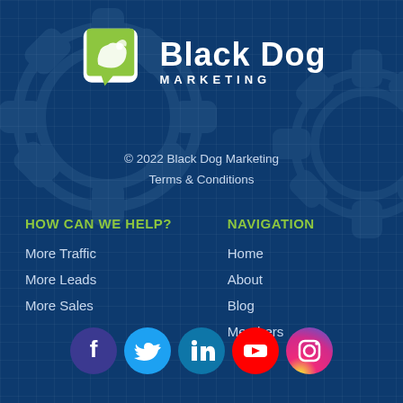[Figure (logo): Black Dog Marketing logo with green speech bubble icon containing a dog silhouette, and white bold text 'Black Dog MARKETING']
© 2022 Black Dog Marketing
Terms & Conditions
HOW CAN WE HELP?
More Traffic
More Leads
More Sales
NAVIGATION
Home
About
Blog
Members
[Figure (illustration): Row of 5 social media icons: Facebook (purple circle), Twitter (blue circle), LinkedIn (teal circle), YouTube (red circle), Instagram (gradient circle)]